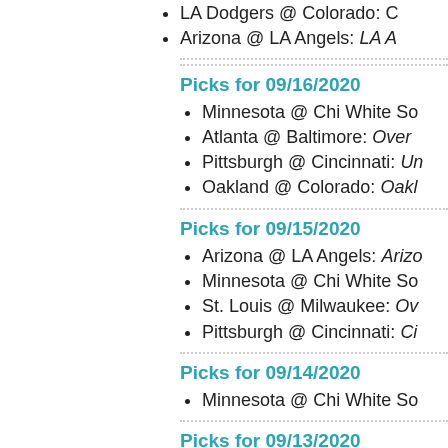LA Dodgers @ Colorado: C...
Arizona @ LA Angels: LA A...
Picks for 09/16/2020
Minnesota @ Chi White So...
Atlanta @ Baltimore: Over...
Pittsburgh @ Cincinnati: Un...
Oakland @ Colorado: Oakl...
Picks for 09/15/2020
Arizona @ LA Angels: Arizo...
Minnesota @ Chi White So...
St. Louis @ Milwaukee: Ov...
Pittsburgh @ Cincinnati: Ci...
Picks for 09/14/2020
Minnesota @ Chi White So...
Picks for 09/13/2020
Oakland @ Texas: Over 8 (...
Chi Cubs @ Milwaukee: Ov...
Boston @ Tampa Bay: Bos...
Picks for 09/12/2020
Cincinnati @ St. Louis: Ove...
Houston @ LA Dodgers: LA...
Chi Cubs @ Milwaukee: O...